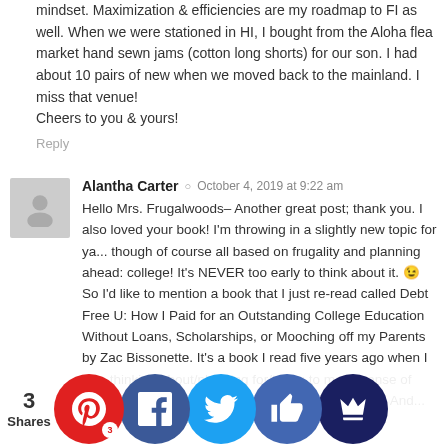mindset. Maximization & efficiencies are my roadmap to FI as well. When we were stationed in HI, I bought from the Aloha flea market hand sewn jams (cotton long shorts) for our son. I had about 10 pairs of new when we moved back to the mainland. I miss that venue!
Cheers to you & yours!
Reply
Alantha Carter  October 4, 2019 at 9:22 am
Hello Mrs. Frugalwoods– Another great post; thank you. I also loved your book! I'm throwing in a slightly new topic for ya... though of course all based on frugality and planning ahead: college! It's NEVER too early to think about it. 😉 So I'd like to mention a book that I just re-read called Debt Free U: How I Paid for an Outstanding College Education Without Loans, Scholarships, or Mooching off my Parents by Zac Bissonette. It's a book I read five years ago when I was thinking about/planning for/trying to make sense of college for my two ch...
[Figure (infographic): Social share bar with Pinterest (3), Facebook, Twitter, Like, and Crown buttons]